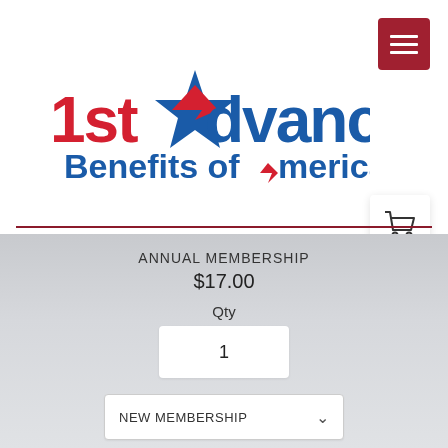[Figure (logo): 1st Advance Benefits of America logo with red '1st', blue 'Advance' text, blue and red star/arrow icon, and blue 'Benefits of America' tagline]
ANNUAL MEMBERSHIP
$17.00
Qty
1
NEW MEMBERSHIP